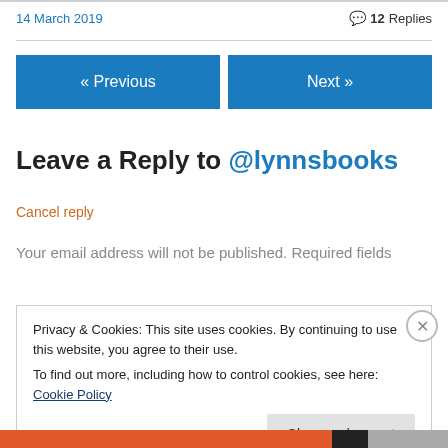14 March 2019
💬 12 Replies
« Previous
Next »
Leave a Reply to @lynnsbooks
Cancel reply
Your email address will not be published. Required fields
Privacy & Cookies: This site uses cookies. By continuing to use this website, you agree to their use.
To find out more, including how to control cookies, see here: Cookie Policy
Close and accept